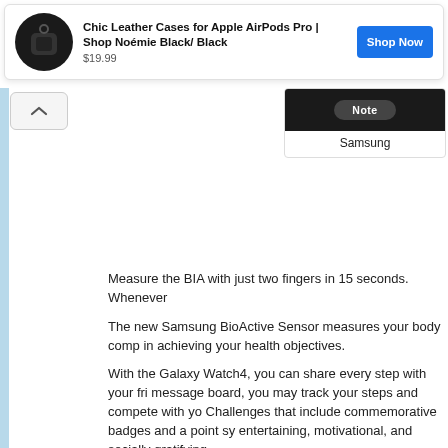[Figure (screenshot): Advertisement banner: Chic Leather Cases for Apple AirPods Pro | Shop Noémie Black/Black, $19.99, with Shop Now button]
[Figure (screenshot): Samsung Galaxy Note product card with Note label and Samsung brand text]
Measure the BIA with just two fingers in 15 seconds. Whenever
The new Samsung BioActive Sensor measures your body comp in achieving your health objectives.
With the Galaxy Watch4, you can share every step with your fri message board, you may track your steps and compete with yo Challenges that include commemorative badges and a point sy entertaining, motivational, and socially gratifying.
You can use your watch and phone to monitor your activity and track your steps, calories, and position on the grid. Galaxy Watc monitor your routines and supports over 90 activities for a more